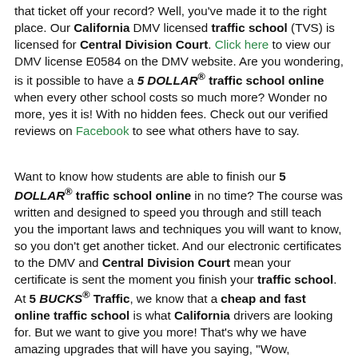that ticket off your record? Well, you've made it to the right place. Our California DMV licensed traffic school (TVS) is licensed for Central Division Court. Click here to view our DMV license E0584 on the DMV website. Are you wondering, is it possible to have a 5 DOLLAR® traffic school online when every other school costs so much more? Wonder no more, yes it is! With no hidden fees. Check out our verified reviews on Facebook to see what others have to say.
Want to know how students are able to finish our 5 DOLLAR® traffic school online in no time? The course was written and designed to speed you through and still teach you the important laws and techniques you will want to know, so you don't get another ticket. And our electronic certificates to the DMV and Central Division Court mean your certificate is sent the moment you finish your traffic school. At 5 BUCKS® Traffic, we know that a cheap and fast online traffic school is what California drivers are looking for. But we want to give you more! That's why we have amazing upgrades that will have you saying, "Wow,